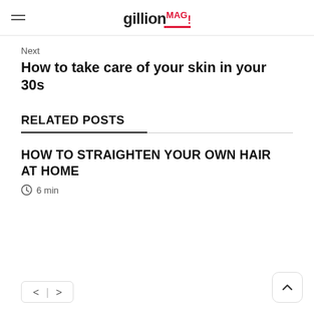gillion MAG!
Next
How to take care of your skin in your 30s
RELATED POSTS
HOW TO STRAIGHTEN YOUR OWN HAIR AT HOME
6 min